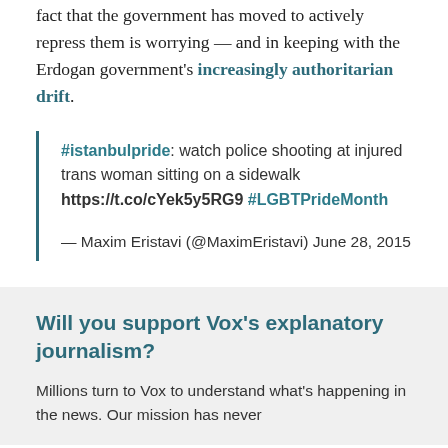fact that the government has moved to actively repress them is worrying — and in keeping with the Erdogan government's increasingly authoritarian drift.
#istanbulpride: watch police shooting at injured trans woman sitting on a sidewalk https://t.co/cYek5y5RG9 #LGBTPrideMonth

— Maxim Eristavi (@MaximEristavi) June 28, 2015
Will you support Vox's explanatory journalism?
Millions turn to Vox to understand what's happening in the news. Our mission has never